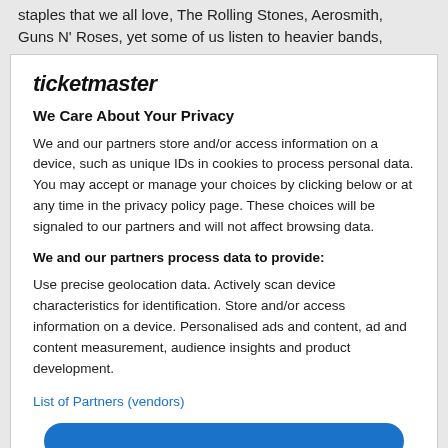staples that we all love, The Rolling Stones, Aerosmith, Guns N' Roses, yet some of us listen to heavier bands,
ticketmaster
We Care About Your Privacy
We and our partners store and/or access information on a device, such as unique IDs in cookies to process personal data. You may accept or manage your choices by clicking below or at any time in the privacy policy page. These choices will be signaled to our partners and will not affect browsing data.
We and our partners process data to provide:
Use precise geolocation data. Actively scan device characteristics for identification. Store and/or access information on a device. Personalised ads and content, ad and content measurement, audience insights and product development.
List of Partners (vendors)